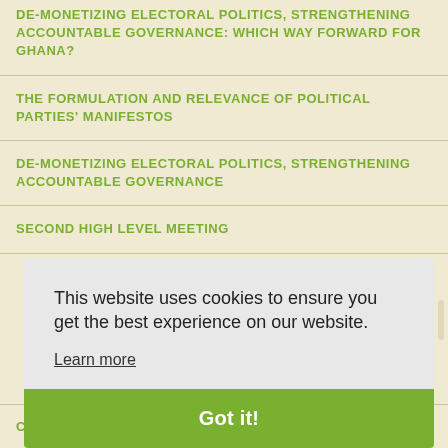DE-MONETIZING ELECTORAL POLITICS, STRENGTHENING ACCOUNTABLE GOVERNANCE: WHICH WAY FORWARD FOR GHANA?
THE FORMULATION AND RELEVANCE OF POLITICAL PARTIES' MANIFESTOS
DE-MONETIZING ELECTORAL POLITICS, STRENGTHENING ACCOUNTABLE GOVERNANCE
SECOND HIGH LEVEL MEETING
This website uses cookies to ensure you get the best experience on our website.
Learn more
Got it!
CUSTODIANS OF PEACE AND UNITY